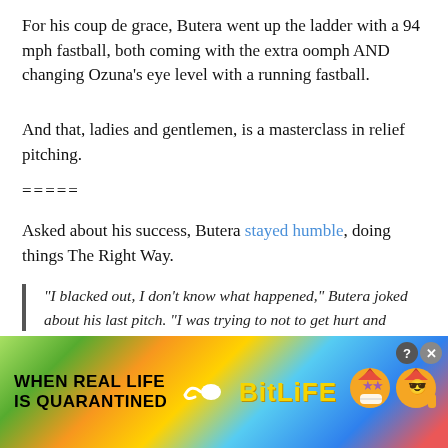For his coup de grace, Butera went up the ladder with a 94 mph fastball, both coming with the extra oomph AND changing Ozuna's eye level with a running fastball.
And that, ladies and gentlemen, is a masterclass in relief pitching.
=====
Asked about his success, Butera stayed humble, doing things The Right Way.
“I blacked out, I don’t know what happened,” Butera joked about his last pitch. “I was trying to not to get hurt and
[Figure (other): BitLife mobile game advertisement banner: rainbow gradient background, text 'WHEN REAL LIFE IS QUARANTINED', sperm emoji, BitLife logo in yellow, cartoon mascot icons with masks and stars.]